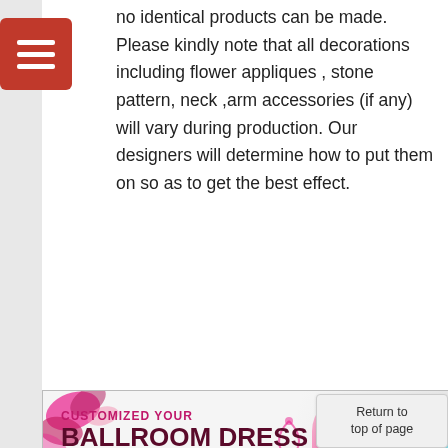no identical products can be made. Please kindly note that all decorations including flower appliques , stone pattern, neck ,arm accessories (if any) will vary during production. Our designers will determine how to put them on so as to get the best effect.
[Figure (illustration): Advertisement banner: CUSTOMIZED YOUR BALLROOM DRESS. Perfect fit Fast shipment. Shows two female dancers in pink and blue dresses.]
Why Us:
The Biggest Factory and Online Shop:
It is quite amazing to note that we are not only the professional and reliable factory with lots of experiences but also the biggest online sho...